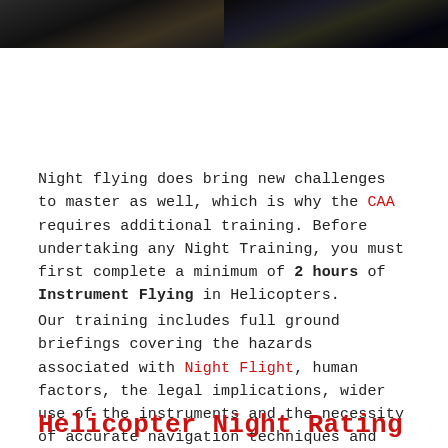[Figure (photo): Dark photo of a helicopter or pilot at night, left panel]
[Figure (photo): Dark aerial night cityscape photo, right panel]
Night flying does bring new challenges to master as well, which is why the CAA requires additional training. Before undertaking any Night Training, you must first complete a minimum of 2 hours of Instrument Flying in Helicopters.
Our training includes full ground briefings covering the hazards associated with Night Flight, human factors, the legal implications, wider use of the instruments and the necessity of accurate navigation techniques and planning.
Helicopter Night Rating